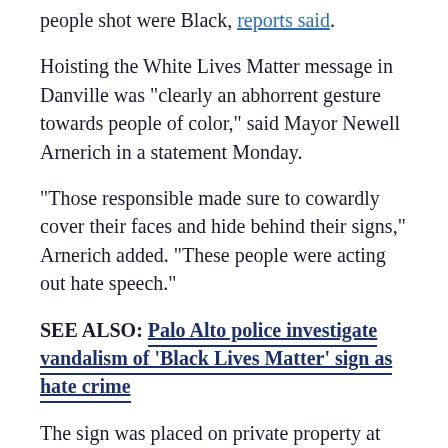people shot were Black, reports said.
Hoisting the White Lives Matter message in Danville was "clearly an abhorrent gesture towards people of color," said Mayor Newell Arnerich in a statement Monday.
"Those responsible made sure to cowardly cover their faces and hide behind their signs," Arnerich added. "These people were acting out hate speech."
SEE ALSO: Palo Alto police investigate vandalism of 'Black Lives Matter' sign as hate crime
The sign was placed on private property at the corner of Blackhawk Road and Camino Tassajara Road, the mayor's office said.